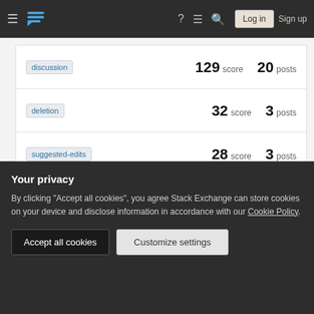Stack Exchange navigation bar with Log in and Sign up buttons
discussion — 129 score  20 posts
deletion — 32 score  3 posts
suggested-edits — 28 score  3 posts
tagging — 26 score  5 posts
closing — 20+ score  2+ posts (partial)
Your privacy
By clicking "Accept all cookies", you agree Stack Exchange can store cookies on your device and disclose information in accordance with our Cookie Policy.
Accept all cookies | Customize settings